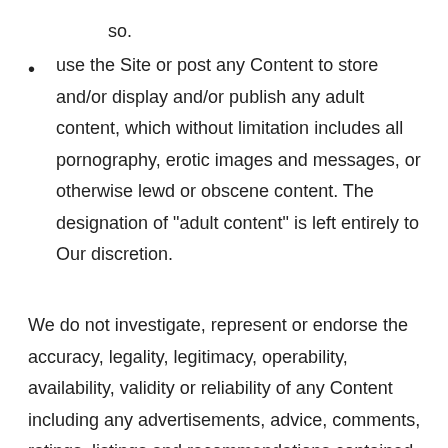so.
use the Site or post any Content to store and/or display and/or publish any adult content, which without limitation includes all pornography, erotic images and messages, or otherwise lewd or obscene content. The designation of "adult content" is left entirely to Our discretion.
We do not investigate, represent or endorse the accuracy, legality, legitimacy, operability, availability, validity or reliability of any Content including any advertisements, advice, comments, ratings, listings and recommendations contained on, distributed through, or linked, downloaded or accessed from the Site.